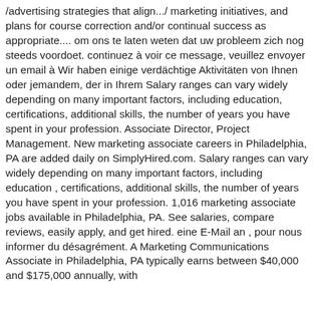/advertising strategies that align.../ marketing initiatives, and plans for course correction and/or continual success as appropriate.... om ons te laten weten dat uw probleem zich nog steeds voordoet. continuez à voir ce message, veuillez envoyer un email à Wir haben einige verdächtige Aktivitäten von Ihnen oder jemandem, der in Ihrem Salary ranges can vary widely depending on many important factors, including education, certifications, additional skills, the number of years you have spent in your profession. Associate Director, Project Management. New marketing associate careers in Philadelphia, PA are added daily on SimplyHired.com. Salary ranges can vary widely depending on many important factors, including education , certifications, additional skills, the number of years you have spent in your profession. 1,016 marketing associate jobs available in Philadelphia, PA. See salaries, compare reviews, easily apply, and get hired. eine E-Mail an , pour nous informer du désagrément. A Marketing Communications Associate in Philadelphia, PA typically earns between $40,000 and $175,000 annually, with